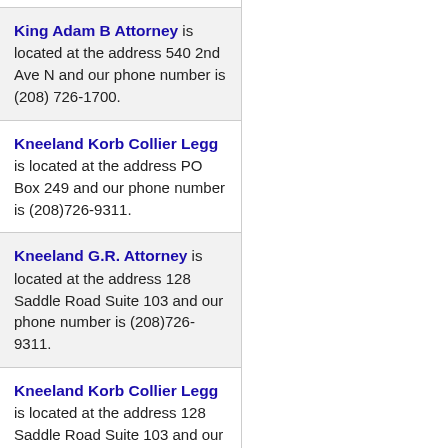King Adam B Attorney is located at the address 540 2nd Ave N and our phone number is (208) 726-1700.
Kneeland Korb Collier Legg is located at the address PO Box 249 and our phone number is (208)726-9311.
Kneeland G.R. Attorney is located at the address 128 Saddle Road Suite 103 and our phone number is (208)726-9311.
Kneeland Korb Collier Legg is located at the address 128 Saddle Road Suite 103 and our phone number is (208)726-9311.
Korb Robert 3rd Attorney is located at the address 128...